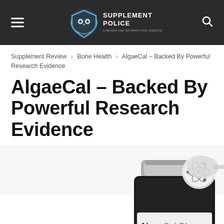Supplement Police — navigation header
Supplement Review › Bone Health › AlgaeCal – Backed By Powerful Research Evidence
AlgaeCal – Backed By Powerful Research Evidence
[Figure (photo): Product photo of AlgaeCal Plus supplement bottle with 'Bone Strength. Guaranteed.' label, shown against a white and yellow diagonal background with an atom icon in the upper right.]